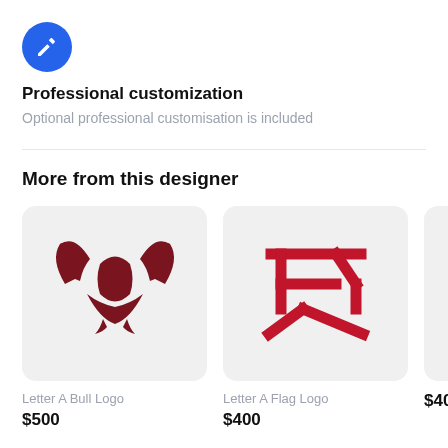[Figure (logo): Blue circle icon with white pencil/edit icon inside]
Professional customization
Optional professional customisation is included
More from this designer
[Figure (logo): Letter A Bull Logo — dark red/maroon eagle or bull wings logo on light grey rounded rectangle background]
Letter A Bull Logo
$500
[Figure (logo): Letter A Flag Logo — red geometric angular letter/flag logo on light grey rounded rectangle background]
Letter A Flag Logo
$400
[Figure (logo): Partially visible third logo card, clipped at right edge]
$400